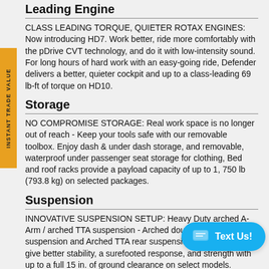Leading Engine
CLASS LEADING TORQUE, QUIETER ROTAX ENGINES: Now introducing HD7. Work better, ride more comfortably with the pDrive CVT technology, and do it with low-intensity sound. For long hours of hard work with an easy-going ride, Defender delivers a better, quieter cockpit and up to a class-leading 69 lb-ft of torque on HD10.
Storage
NO COMPROMISE STORAGE: Real work space is no longer out of reach - Keep your tools safe with our removable toolbox. Enjoy dash & under dash storage, and removable, waterproof under passenger seat storage for clothing, Bed and roof racks provide a payload capacity of up to 1, 750 lb (793.8 kg) on selected packages.
Suspension
INNOVATIVE SUSPENSION SETUP: Heavy Duty arched A-Arm / arched TTA suspension - Arched double A-Arm front suspension and Arched TTA rear suspension on HD10 models give better stability, a surefooted response, and strength with up to a full 15 in. of ground clearance on select models.